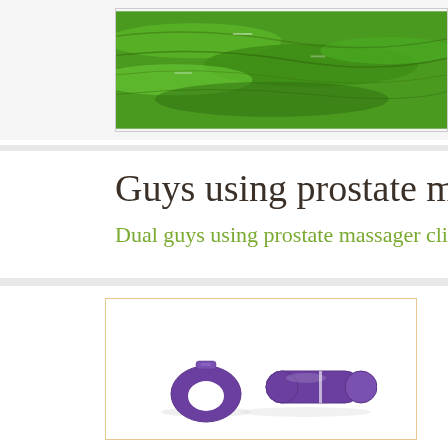[Figure (photo): Aerial landscape photo of green terraced fields/tea plantation viewed from above]
Guys using prostate massage
Dual guys using prostate massager clit
[Figure (photo): Two purple massager devices on white background — a small ring-shaped controller and a bullet-shaped vibrator connected by a white cable]